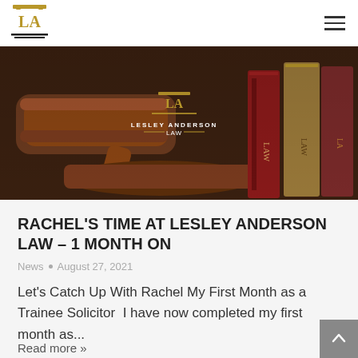Lesley Anderson Law — navigation header with logo and hamburger menu
[Figure (photo): Hero image showing a wooden gavel and law books with Lesley Anderson Law logo overlay]
RACHEL'S TIME AT LESLEY ANDERSON LAW – 1 MONTH ON
News • August 27, 2021
Let's Catch Up With Rachel My First Month as a Trainee Solicitor  I have now completed my first month as...
Read more »